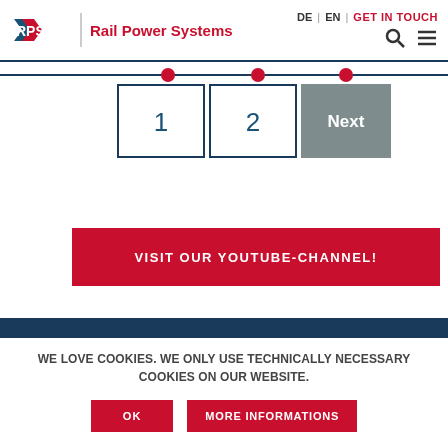RPS Rail Power Systems | DE | EN | GET IN TOUCH
[Figure (infographic): Pagination navigation with timeline dots: buttons labeled 1, 2, and Next with red dots above on a blue horizontal line]
VISIT OUR YOUTUBE-CHANNEL!
WE LOVE COOKIES. WE ONLY USE TECHNICALLY NECESSARY COOKIES ON OUR WEBSITE.
OK | MORE INFORMATIONS